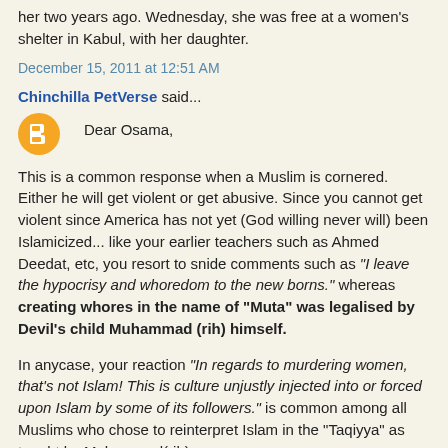her two years ago. Wednesday, she was free at a women's shelter in Kabul, with her daughter.
December 15, 2011 at 12:51 AM
Chinchilla PetVerse said...
Dear Osama,
This is a common response when a Muslim is cornered. Either he will get violent or get abusive. Since you cannot get violent since America has not yet (God willing never will) been Islamicized... like your earlier teachers such as Ahmed Deedat, etc, you resort to snide comments such as "I leave the hypocrisy and whoredom to the new borns." whereas creating whores in the name of "Muta" was legalised by Devil's child Muhammad (rih) himself.
In anycase, your reaction "In regards to murdering women, that's not Islam! This is culture unjustly injected into or forced upon Islam by some of its followers." is common among all Muslims who chose to reinterpret Islam in the "Taqiyya" as taught by Muhammad(rih)